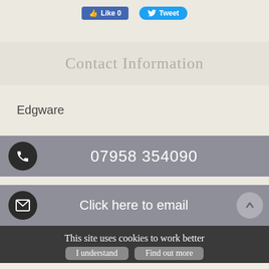[Figure (screenshot): Facebook Like button and Twitter Tweet button at top]
Contact Information
Edgware
07958 354090
Click here to email
This site uses cookies to work better
I understand   Find out more